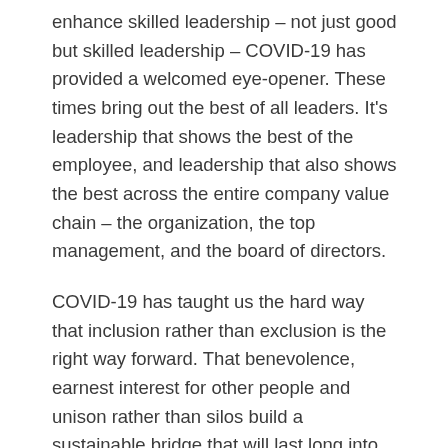enhance skilled leadership – not just good but skilled leadership – COVID-19 has provided a welcomed eye-opener. These times bring out the best of all leaders. It's leadership that shows the best of the employee, and leadership that also shows the best across the entire company value chain – the organization, the top management, and the board of directors.
COVID-19 has taught us the hard way that inclusion rather than exclusion is the right way forward. That benevolence, earnest interest for other people and unison rather than silos build a sustainable bridge that will last long into the future. A bridge of solid materials that do not rust but instead turns into a monument of beauty.